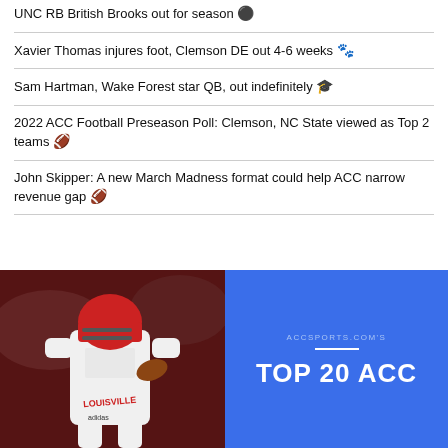UNC RB British Brooks out for season 🔵
Xavier Thomas injures foot, Clemson DE out 4-6 weeks 🐾
Sam Hartman, Wake Forest star QB, out indefinitely 🎓
2022 ACC Football Preseason Poll: Clemson, NC State viewed as Top 2 teams 🏈
John Skipper: A new March Madness format could help ACC narrow revenue gap 🏈
[Figure (photo): Louisville football player in red uniform running with ball, alongside blue panel showing ACCSPORTS.COM'S TOP 20 ACC text]